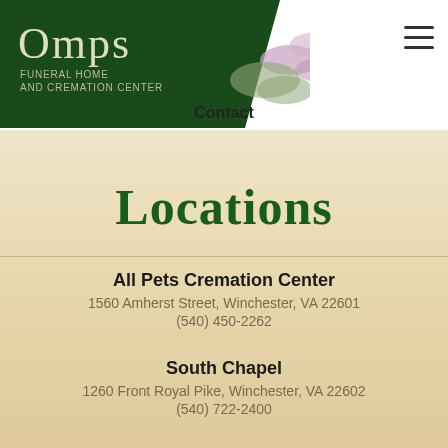[Figure (logo): Omps Funeral Home and Cremation Center logo on dark green background with flowers]
Contact
Locations
All Pets Cremation Center
1560 Amherst Street, Winchester, VA 22601
(540) 450-2262
South Chapel
1260 Front Royal Pike, Winchester, VA 22602
(540) 722-2400
Amherst Chapel
1600 Amherst Street, Winchester, VA 22601
(540) 662-6633